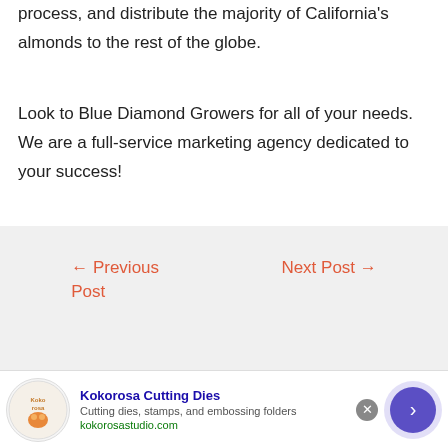process, and distribute the majority of California's almonds to the rest of the globe.
Look to Blue Diamond Growers for all of your needs. We are a full-service marketing agency dedicated to your success!
← Previous Post
Next Post →
[Figure (other): Small preview thumbnail image with grid layout]
Know Your
[Figure (advertisement): Kokorosa Cutting Dies advertisement banner with logo, title, subtitle, and URL]